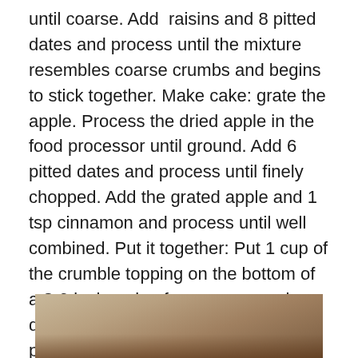until coarse. Add raisins and 8 pitted dates and process until the mixture resembles coarse crumbs and begins to stick together. Make cake: grate the apple. Process the dried apple in the food processor until ground. Add 6 pitted dates and process until finely chopped. Add the grated apple and 1 tsp cinnamon and process until well combined. Put it together: Put 1 cup of the crumble topping on the bottom of a 8-9 inch spring form pan, pressing down. Put the cake mixture on top, pressing down and out to the sides to cover the crust. Then put the rest of the crumble topping on top, patting lightly. Chill for at least 2 hours. To serve, bring to room temperature, remove sides of spring form pan and slice. OPTIONAL: frost with Cashew Cream Frosting! (recipe in Genesis)
[Figure (photo): Partial photo of a cake or dessert on a light-colored surface, cropped at the bottom of the page]